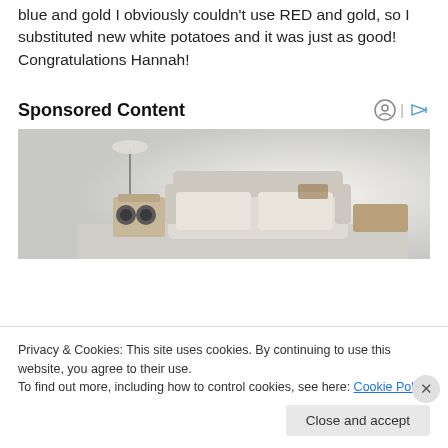blue and gold I obviously couldn't use RED and gold, so I substituted new white potatoes and it was just as good! Congratulations Hannah!
Sponsored Content
[Figure (photo): Advertisement image showing a modern furniture set including a sofa, side table, and media center in a light-colored room setting]
Privacy & Cookies: This site uses cookies. By continuing to use this website, you agree to their use.
To find out more, including how to control cookies, see here: Cookie Policy
Close and accept